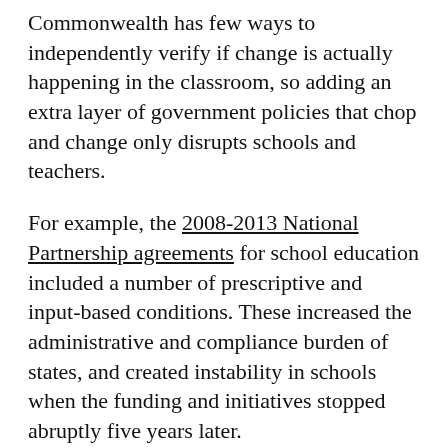Commonwealth has few ways to independently verify if change is actually happening in the classroom, so adding an extra layer of government policies that chop and change only disrupts schools and teachers.
For example, the 2008-2013 National Partnership agreements for school education included a number of prescriptive and input-based conditions. These increased the administrative and compliance burden of states, and created instability in schools when the funding and initiatives stopped abruptly five years later.
Before looking to new reforms, the Commonwealth government should first deliver its existing responsibilities more effectively. These include initial teacher training, the national curriculum and national student testing. All services are to ...